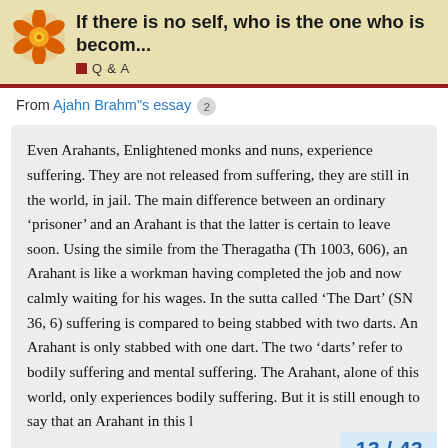If there is no self, who is the one who is becom... Q & A
From Ajahn Brahm"s essay 2
Even Arahants, Enlightened monks and nuns, experience suffering. They are not released from suffering, they are still in the world, in jail. The main difference between an ordinary ‘prisoner’ and an Arahant is that the latter is certain to leave soon. Using the simile from the Theragatha (Th 1003, 606), an Arahant is like a workman having completed the job and now calmly waiting for his wages. In the sutta called ‘The Dart’ (SN 36, 6) suffering is compared to being stabbed with two darts. An Arahant is only stabbed with one dart. The two ‘darts’ refer to bodily suffering and mental suffering. The Arahant, alone of this world, only experiences bodily suffering. But it is still enough to say that an Arahant in this l...
13 / 43